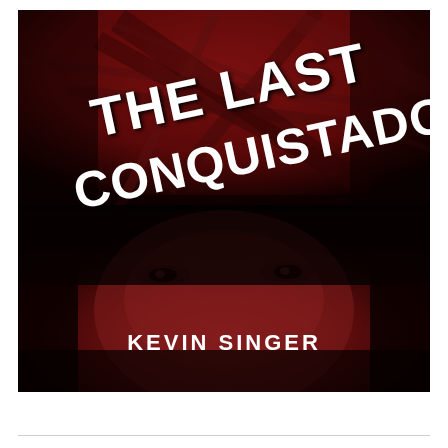[Figure (illustration): Book cover for 'The Last Conquistador' by Kevin Singer. Dark red and black toned image showing a close-up of a person's face (eyes visible in lower half) partially obscured by shadow. Upper portion shows ruins or wooden debris in a red-tinted photographic style. Large bold white italic text reads 'THE LAST CONQUISTADOR' at an angle across the upper portion. Author name 'KEVIN SINGER' appears in bold white sans-serif text near the bottom center.]